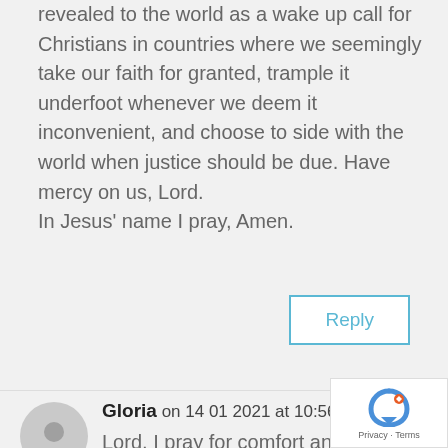Sajida Mushtaq and Abida Quiber be revealed to the world as a wake up call for Christians in countries where we seemingly take our faith for granted, trample it underfoot whenever we deem it inconvenient, and choose to side with the world when justice should be due. Have mercy on us, Lord.
In Jesus' name I pray, Amen.
Reply
Gloria on 14 01 2021 at 10:56 am
Lord, I pray for comfort and peace for the families of these 2 women, especially the children who have lost their mother at such a young